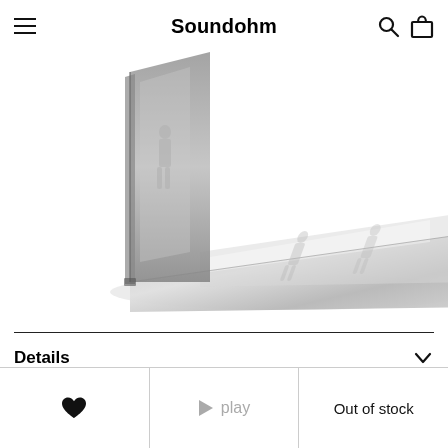Soundohm
[Figure (photo): A silver/metallic reflective object resembling a folded flat surface or vinyl record sleeve, shown at an angle on a white background. The object appears to have embossed figures or reflections on its surface.]
Details
♥  play  Out of stock